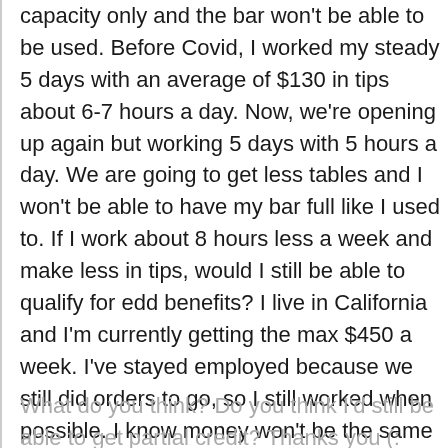capacity only and the bar won't be able to be used. Before Covid, I worked my steady 5 days with an average of $130 in tips about 6-7 hours a day. Now, we're opening up again but working 5 days with 5 hours a day. We are going to get less tables and I won't be able to have my bar full like I used to. If I work about 8 hours less a week and make less in tips, would I still be able to qualify for edd benefits? I live in California and I'm currently getting the max $450 a week. I've stayed employed because we still did orders to go, so I still worked when possible. I know money won't be the same like it used to before March, and that's why I'm worried. If we were open at 100% capacity and had those extra hours a week, it be okay, but I'm sure it will affect me when I return.
What do you think? Do you think I'd still be able to get partial credit? Thanks you (: